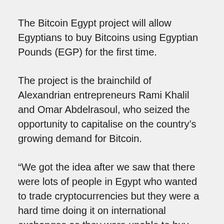The Bitcoin Egypt project will allow Egyptians to buy Bitcoins using Egyptian Pounds (EGP) for the first time.
The project is the brainchild of Alexandrian entrepreneurs Rami Khalil and Omar Abdelrasoul, who seized the opportunity to capitalise on the country's growing demand for Bitcoin.
“We got the idea after we saw that there were lots of people in Egypt who wanted to trade cryptocurrencies but they were a hard time doing it on international exchanges as they were unable to buy coins using EGP," Abdelrasoul said.